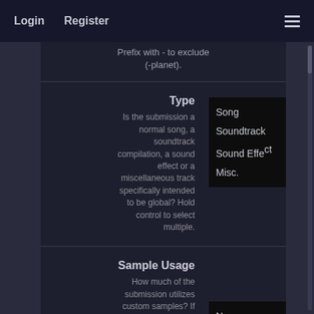Login   Register
Prefix with - to exclude (-planet).
Type
Is the submission a normal song, a soundtrack compilation, a sound effect or a miscellaneous track specifically intended to be global? Hold control to select multiple.
Song
Soundtrack
Sound Effect
Misc.
Sample Usage
How much of the submission utilizes custom samples? If the submission is a Soundtrack, err towards the majority of songs when labeling this. Hold
None
Light
Many